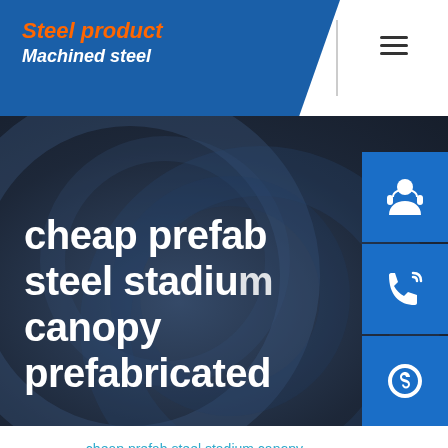Steel product | Machined steel
cheap prefab steel stadium canopy prefabricated
Home / cheap prefab steel stadium canopy prefabricated
[Figure (photo): Bottom image strip showing green/outdoor scene]